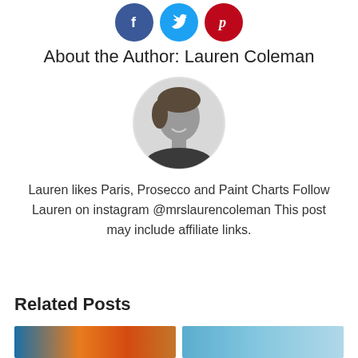[Figure (illustration): Social media icons: Facebook (blue circle with f), Twitter (light blue circle with bird), Pinterest (red circle with p)]
About the Author: Lauren Coleman
[Figure (photo): Circular black-and-white headshot photo of Lauren Coleman, a woman with short hair, smiling]
Lauren likes Paris, Prosecco and Paint Charts Follow Lauren on instagram @mrslaurencoleman This post may include affiliate links.
Related Posts
[Figure (photo): Thumbnail image showing colorful travel scene]
[Figure (photo): Thumbnail image showing beach/coastal scene]